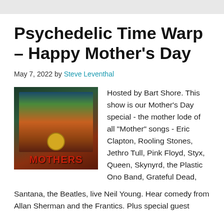Psychedelic Time Warp – Happy Mother's Day
May 7, 2022 by Steve Leventhal
[Figure (photo): Album cover for the Mothers of Invention showing a group of people with red letters at the bottom spelling MOTHERS]
Hosted by Bart Shore. This show is our Mother's Day special - the mother lode of all "Mother" songs - Eric Clapton, Rooling Stones, Jethro Tull, Pink Floyd, Styx, Queen, Skynyrd, the Plastic Ono Band, Grateful Dead, Santana, the Beatles, live Neil Young. Hear comedy from Allan Sherman and the Frantics. Plus special guest